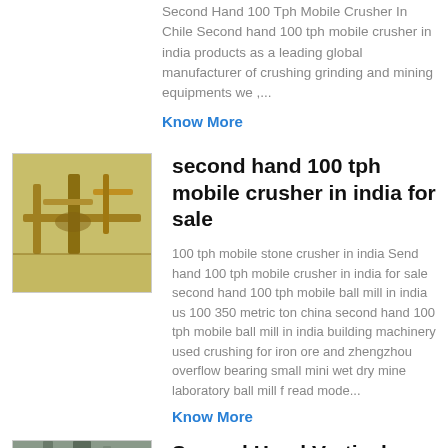Second Hand 100 Tph Mobile Crusher In Chile Second hand 100 tph mobile crusher in india products as a leading global manufacturer of crushing grinding and mining equipments we ,...
Know More
[Figure (photo): Yellow industrial crushing/milling machinery in a factory setting]
second hand 100 tph mobile crusher in india for sale
100 tph mobile stone crusher in india Send hand 100 tph mobile crusher in india for sale second hand 100 tph mobile ball mill in india us 100 350 metric ton china second hand 100 tph mobile ball mill in india building machinery used crushing for iron ore and zhengzhou overflow bearing small mini wet dry mine laboratory ball mill f read mode...
Know More
[Figure (photo): Industrial vertical machinery, partially visible]
Second Hand Vertical